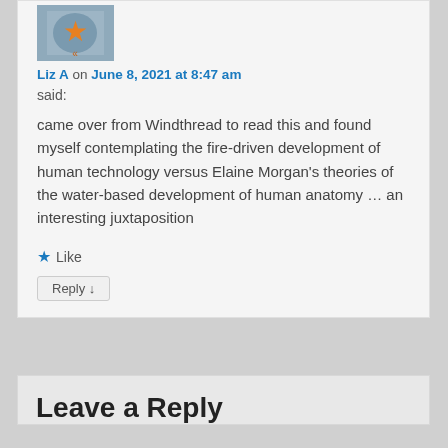[Figure (photo): User avatar image with orange design on blue/grey background]
Liz A on June 8, 2021 at 8:47 am
said:
came over from Windthread to read this and found myself contemplating the fire-driven development of human technology versus Elaine Morgan's theories of the water-based development of human anatomy … an interesting juxtaposition
★ Like
Reply ↓
Leave a Reply